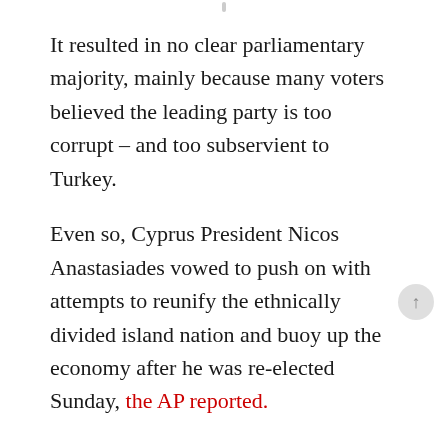It resulted in no clear parliamentary majority, mainly because many voters believed the leading party is too corrupt – and too subservient to Turkey.
Even so, Cyprus President Nicos Anastasiades vowed to push on with attempts to reunify the ethnically divided island nation and buoy up the economy after he was re-elected Sunday, the AP reported.